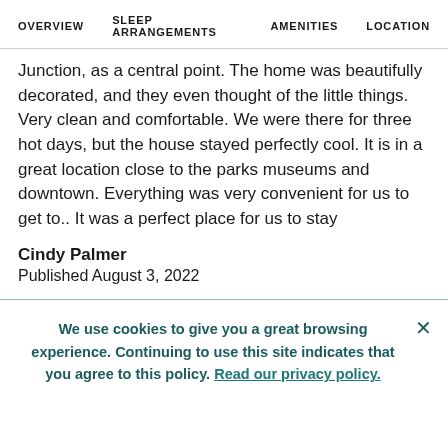OVERVIEW   SLEEP ARRANGEMENTS   AMENITIES   LOCATION
Junction, as a central point. The home was beautifully decorated, and they even thought of the little things. Very clean and comfortable. We were there for three hot days, but the house stayed perfectly cool. It is in a great location close to the parks museums and downtown. Everything was very convenient for us to get to.. It was a perfect place for us to stay
Cindy Palmer
Published August 3, 2022
We use cookies to give you a great browsing experience. Continuing to use this site indicates that you agree to this policy. Read our privacy policy.